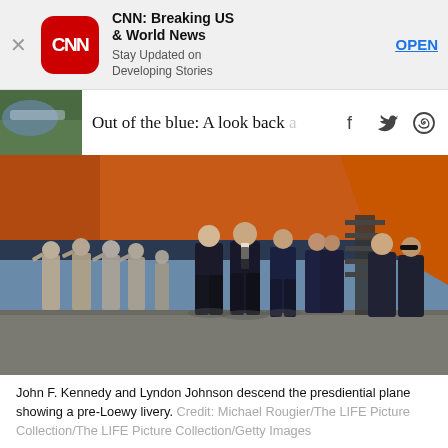[Figure (screenshot): App store advertisement banner for CNN Breaking US & World News app, with CNN red rounded-square logo, app name, tagline, and OPEN button]
Out of the blue: A look back…
[Figure (photo): Historical color photograph of John F. Kennedy and Lyndon Johnson descending the presidential plane showing a pre-Loewy livery, with military personnel saluting on the left and aides walking alongside on the right. The plane has an orange livery. Group of men in dark suits walk across the tarmac.]
John F. Kennedy and Lyndon Johnson descend the presdiential plane showing a pre-Loewy livery. Credit: Michael Rougier/The LIFE Picture Collection/The LIFE Picture Collection/Getty Images